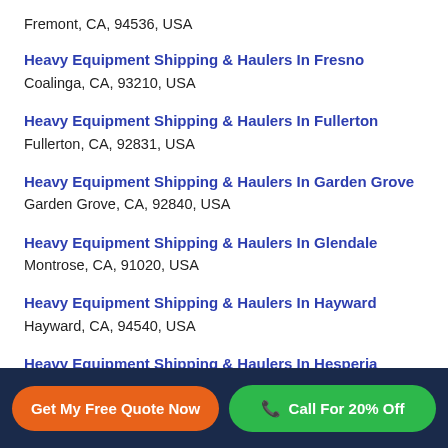Fremont, CA, 94536, USA
Heavy Equipment Shipping & Haulers In Fresno
Coalinga, CA, 93210, USA
Heavy Equipment Shipping & Haulers In Fullerton
Fullerton, CA, 92831, USA
Heavy Equipment Shipping & Haulers In Garden Grove
Garden Grove, CA, 92840, USA
Heavy Equipment Shipping & Haulers In Glendale
Montrose, CA, 91020, USA
Heavy Equipment Shipping & Haulers In Hayward
Hayward, CA, 94540, USA
Heavy Equipment Shipping & Haulers In Hesperia
Hesperia, CA, 92340, USA
Get My Free Quote Now | Call For 20% Off